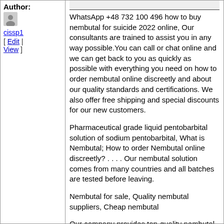Author:
cissp1
[ Edit | View ]
WhatsApp +48 732 100 496 how to buy nembutal for suicide 2022 online, Our consultants are trained to assist you in any way possible.You can call or chat online and we can get back to you as quickly as possible with everything you need on how to order nembutal online discreetly and about our quality standards and certifications. We also offer free shipping and special discounts for our new customers.
Pharmaceutical grade liquid pentobarbital solution of sodium pentobarbital, What is Nembutal; How to order Nembutal online discreetly? . . . . Our nembutal solution comes from many countries and all batches are tested before leaving.
Nembutal for sale, Quality nembutal suppliers, Cheap nembutal
Our company provides top-quality nembutal in different quantities at cheap price. Although it is available online, you would never imagine that it is related to the purchase of the most lethal drug in the world. This product is legal and could be easily shipped to your area without drawing any suspicion from customs or law enforcements.